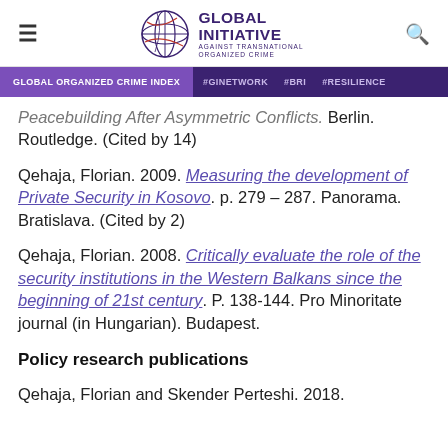Global Initiative Against Transnational Organized Crime | Global Organized Crime Index | #GINETWORK | #BRI | #RESILIENCE
Peacebuilding After Asymmetric Conflicts. Berlin. Routledge. (Cited by 14)
Qehaja, Florian. 2009. Measuring the development of Private Security in Kosovo. p. 279 – 287. Panorama. Bratislava. (Cited by 2)
Qehaja, Florian. 2008. Critically evaluate the role of the security institutions in the Western Balkans since the beginning of 21st century. P. 138-144. Pro Minoritate journal (in Hungarian). Budapest.
Policy research publications
Qehaja, Florian and Skender Perteshi. 2018.